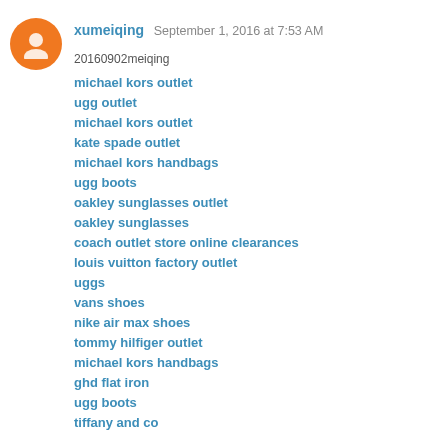xumeiqing  September 1, 2016 at 7:53 AM
20160902meiqing
michael kors outlet
ugg outlet
michael kors outlet
kate spade outlet
michael kors handbags
ugg boots
oakley sunglasses outlet
oakley sunglasses
coach outlet store online clearances
louis vuitton factory outlet
uggs
vans shoes
nike air max shoes
tommy hilfiger outlet
michael kors handbags
ghd flat iron
ugg boots
tiffany and co